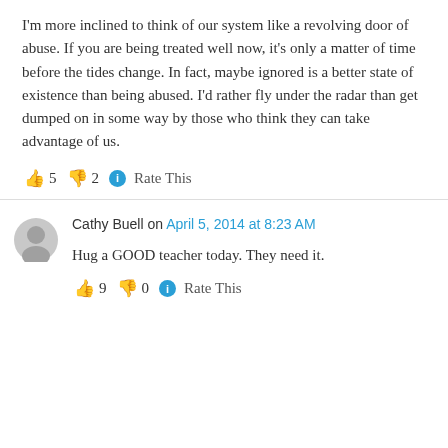I'm more inclined to think of our system like a revolving door of abuse. If you are being treated well now, it's only a matter of time before the tides change. In fact, maybe ignored is a better state of existence than being abused. I'd rather fly under the radar than get dumped on in some way by those who think they can take advantage of us.
👍 5 👎 2 ℹ Rate This
Cathy Buell on April 5, 2014 at 8:23 AM
Hug a GOOD teacher today. They need it.
👍 9 👎 0 ℹ Rate This